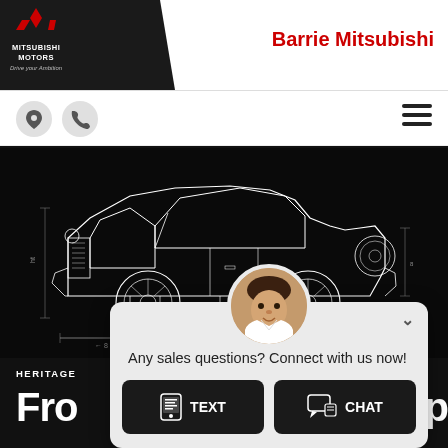[Figure (logo): Mitsubishi Motors logo with red diamond emblem, white text on black background reading MITSUBISHI MOTORS Drive your Ambition]
Barrie Mitsubishi
[Figure (infographic): Navigation bar with location pin icon, phone icon, and hamburger menu icon]
[Figure (engineering-diagram): Technical blueprint schematic of a vintage/classic car in white lines on black background, showing side profile with dimensions]
HERITAGE
Fro p
[Figure (infographic): Chat widget popup with sales representative avatar photo, chevron down button, message 'Any sales questions? Connect with us now!' and two buttons: TEXT and CHAT]
Any sales questions? Connect with us now!
TEXT
CHAT